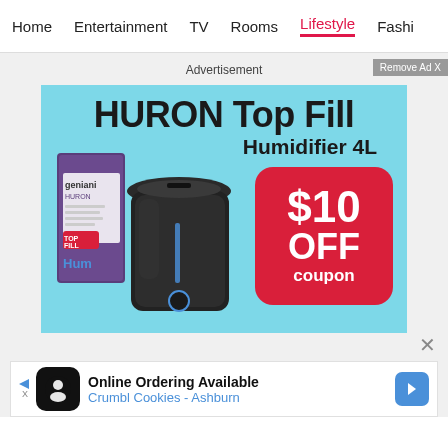Home  Entertainment  TV  Rooms  Lifestyle  Fashi
Advertisement
Remove Ad X
[Figure (photo): Advertisement banner for HURON Top Fill Humidifier 4L by Geniani. Light blue background with a black humidifier device and its product box on the left. A red rounded rectangle coupon badge on the right reads '$10 OFF coupon'.]
×
[Figure (infographic): Bottom ad strip: Online Ordering Available - Crumbl Cookies - Ashburn, with a chef logo icon, blue navigation arrow, and directional arrow icon.]